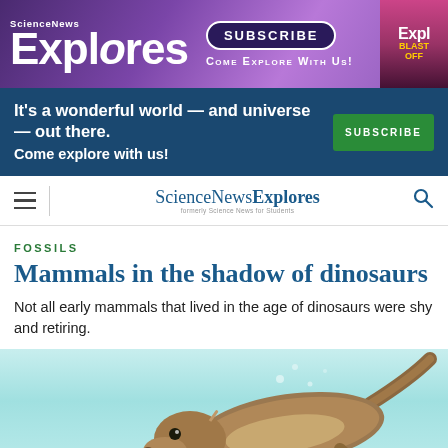[Figure (illustration): ScienceNews Explores banner advertisement with purple galaxy background, logo, SUBSCRIBE button, and COME EXPLORE WITH US text]
[Figure (illustration): Dark blue promotional banner: 'It's a wonderful world — and universe — out there. Come explore with us!' with green SUBSCRIBE button]
[Figure (screenshot): ScienceNews Explores navigation bar with hamburger menu, logo, and search icon]
FOSSILS
Mammals in the shadow of dinosaurs
Not all early mammals that lived in the age of dinosaurs were shy and retiring.
[Figure (illustration): Illustration of a small otter-like early mammal swimming underwater in teal-colored water with bubbles]